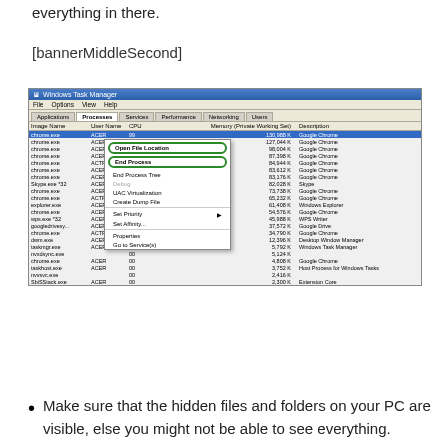everything in there.
[bannerMiddleSecond]
[Figure (screenshot): Windows Task Manager screenshot showing Processes tab with a right-click context menu open on chrome.exe. Context menu options include Open File Location (circled in green), End Process (circled in green), End Process Tree, Debug, UAC Virtualization, Create Dump File, Set Priority, Set Affinity..., Properties, Go to Service(s). Process list shows multiple chrome.exe, skype, explorer.exe, dwm.exe, taskmgr.exe, and other processes with ACER user, CPU percentages, memory values, and descriptions.]
Make sure that the hidden files and folders on your PC are visible, else you might not be able to see everything.